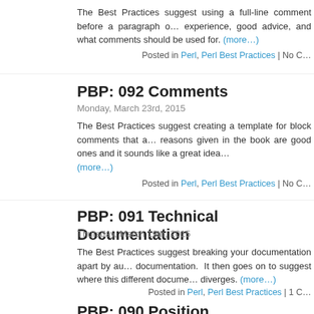The Best Practices suggest using a full-line comment before a paragraph o… experience, good advice, and what comments should be used for. (more…)
Posted in Perl, Perl Best Practices | No C…
PBP: 092 Comments
Monday, March 23rd, 2015
The Best Practices suggest creating a template for block comments that a… reasons given in the book are good ones and it sounds like a great idea… (more…)
Posted in Perl, Perl Best Practices | No C…
PBP: 091 Technical Documentation
Thursday, March 19th, 2015
The Best Practices suggest breaking your documentation apart by au… documentation. It then goes on to suggest where this different docume… diverges. (more…)
Posted in Perl, Perl Best Practices | 1 C…
PBP: 090 Position…